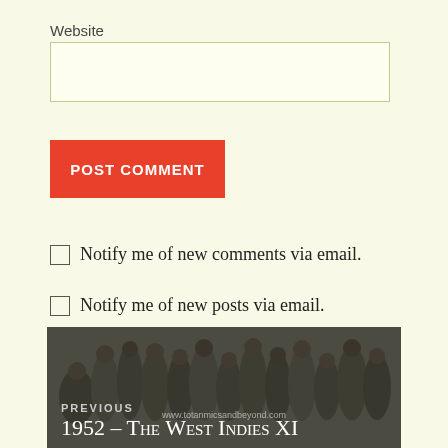Website
POST COMMENT
Notify me of new comments via email.
Notify me of new posts via email.
[Figure (photo): Black and white photograph of a cricket team group, with overlaid navigation showing PREVIOUS and title '1952 – The West Indies XI']